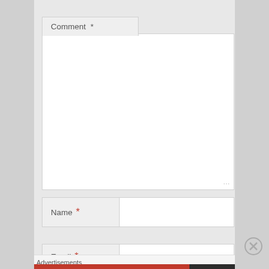Comment *
Name *
Email *
Advertisements